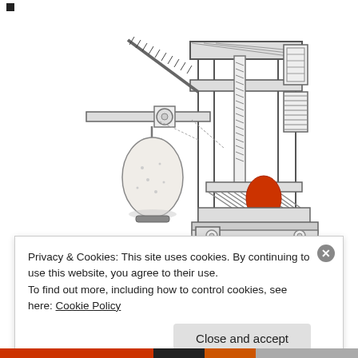[Figure (illustration): Pencil sketch illustration of a mechanical screw press (wine or cider press) with a large wooden frame, screw mechanism with a long handle bar, a hanging weight/counterweight on the left side, and a red egg-shaped object resting on the pressing plate inside the frame.]
Privacy & Cookies: This site uses cookies. By continuing to use this website, you agree to their use.
To find out more, including how to control cookies, see here: Cookie Policy
Close and accept